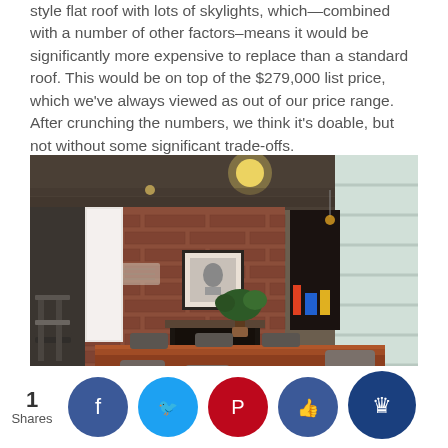style flat roof with lots of skylights, which—combined with a number of other factors—means it would be significantly more expensive to replace than a standard roof. This would be on top of the $279,000 list price, which we've always viewed as out of our price range. After crunching the numbers, we think it's doable, but not without some significant trade-offs.
[Figure (photo): Interior photo of a mid-century modern style dining room with a long wooden dining table surrounded by grey upholstered chairs, exposed brick wall with a fireplace and framed black-and-white artwork, bar stools on the left, large windows on the right letting in natural light, and a small bonsai tree centerpiece on the table.]
1 Shares | Social share buttons: Facebook, Twitter, Pinterest, Like, Crown